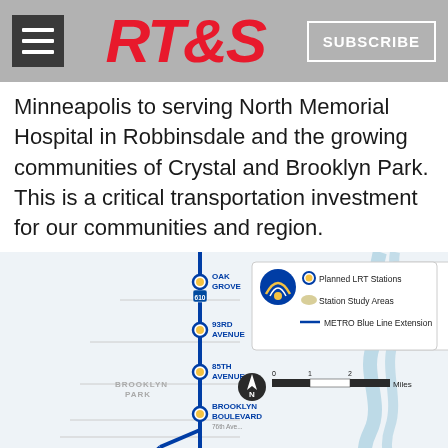RT&S | SUBSCRIBE
Minneapolis to serving North Memorial Hospital in Robbinsdale and the growing communities of Crystal and Brooklyn Park. This is a critical transportation investment for our communities and region.
[Figure (map): Map showing the METRO Blue Line Extension route with planned LRT stations at Oak Grove, 93rd Avenue, 85th Avenue, and Brooklyn Boulevard in Brooklyn Park area. Legend shows Planned LRT Stations (blue/yellow dots), Station Study Areas (oval shapes), and METRO Blue Line Extension (blue line). Scale bar shows 0-1-2 Miles with north arrow.]